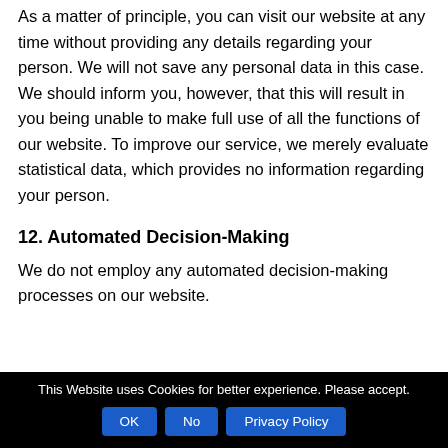As a matter of principle, you can visit our website at any time without providing any details regarding your person. We will not save any personal data in this case. We should inform you, however, that this will result in you being unable to make full use of all the functions of our website. To improve our service, we merely evaluate statistical data, which provides no information regarding your person.
12. Automated Decision-Making
We do not employ any automated decision-making processes on our website.
This Website uses Cookies for better experience. Please accept. [OK] [No] [Privacy Policy]